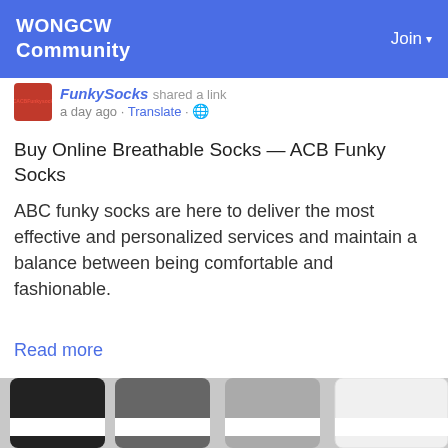WONGCW Community | Join
FunkySocks shared a link
a day ago · Translate · 🌐
Buy Online Breathable Socks — ACB Funky Socks
ABC funky socks are here to deliver the most effective and personalized services and maintain a balance between being comfortable and fashionable.
Read more
[Figure (photo): Four folded ankle socks in black, dark grey, light grey, and white arranged side by side against a grey background, each with a white label band around the middle.]